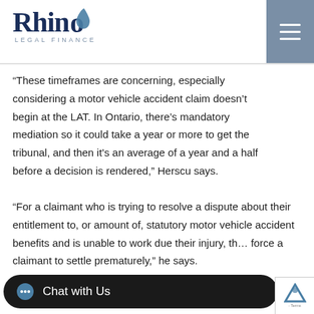Rhino Legal Finance
“These timeframes are concerning, especially considering a motor vehicle accident claim doesn’t begin at the LAT. In Ontario, there’s mandatory mediation so it could take a year or more to get the tribunal, and then it’s an average of a year and a half before a decision is rendered,” Herscu says.
“For a claimant who is trying to resolve a dispute about their entitlement to, or amount of, statutory motor vehicle accident benefits and is unable to work due their injury, th… force a claimant to settle prematurely,” he says.